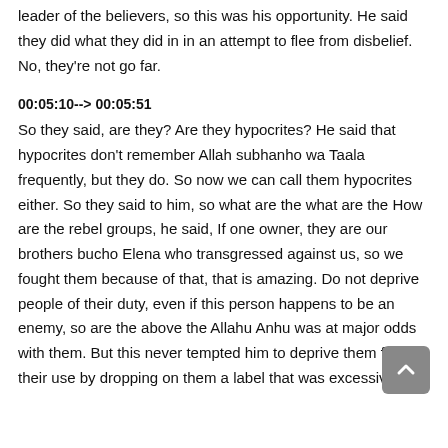leader of the believers, so this was his opportunity. He said they did what they did in in an attempt to flee from disbelief. No, they're not go far.
00:05:10--> 00:05:51
So they said, are they? Are they hypocrites? He said that hypocrites don't remember Allah subhanho wa Taala frequently, but they do. So now we can call them hypocrites either. So they said to him, so what are the what are the How are the rebel groups, he said, If one owner, they are our brothers bucho Elena who transgressed against us, so we fought them because of that, that is amazing. Do not deprive people of their duty, even if this person happens to be an enemy, so are the above the Allahu Anhu was at major odds with them. But this never tempted him to deprive them from their use by dropping on them a label that was excessive.